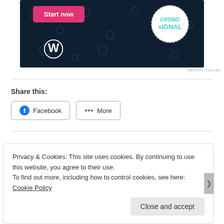[Figure (screenshot): Advertisement banner with dark navy background, pink 'Start now' button, WordPress logo, and Crowdsignal circular badge with dashed border]
REPORT THIS AD
Share this:
Facebook   More
Privacy & Cookies: This site uses cookies. By continuing to use this website, you agree to their use.
To find out more, including how to control cookies, see here: Cookie Policy
Close and accept